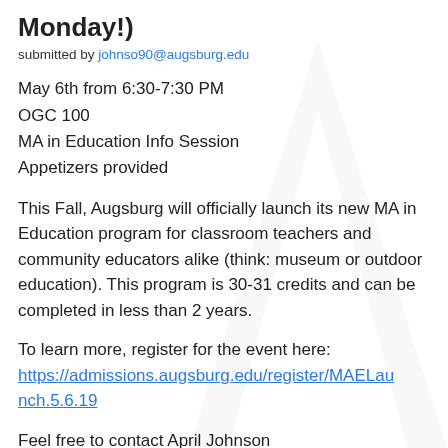Monday!)
submitted by johnso90@augsburg.edu
May 6th from 6:30-7:30 PM
OGC 100
MA in Education Info Session
Appetizers provided
This Fall, Augsburg will officially launch its new MA in Education program for classroom teachers and community educators alike (think: museum or outdoor education). This program is 30-31 credits and can be completed in less than 2 years.
To learn more, register for the event here: https://admissions.augsburg.edu/register/MAELaunch.5.6.19
Feel free to contact April Johnson (johnso90@augsburg.edu) with any questions